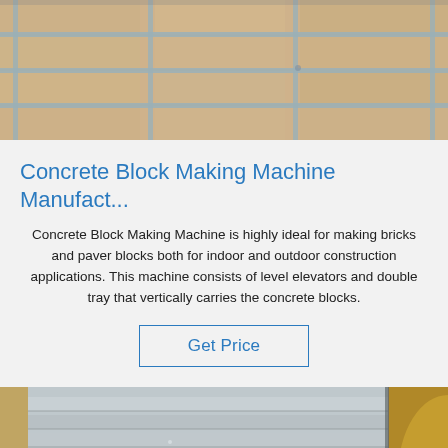[Figure (photo): Top-down view of wooden panels with metal strapping/grid lines, packing/crating material]
Concrete Block Making Machine Manufact...
Concrete Block Making Machine is highly ideal for making bricks and paver blocks both for indoor and outdoor construction applications. This machine consists of level elevators and double tray that vertically carries the concrete blocks.
Get Price
[Figure (photo): Close-up of metallic/steel industrial machinery surface with ribbed texture, and a circular yellow/orange element partially visible on the right; TOP logo overlay in bottom right corner]